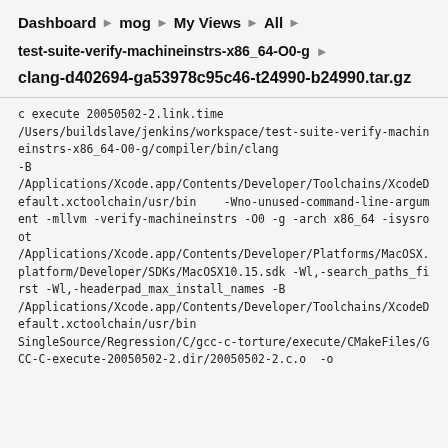Dashboard ▶ mog ▶ My Views ▶ All ▶
test-suite-verify-machineinstrs-x86_64-O0-g ▶
clang-d402694-ga53978c95c46-t24990-b24990.tar.gz
c execute 20050502-2.link.time
/Users/buildslave/jenkins/workspace/test-suite-verify-machineinstrs-x86_64-O0-g/compiler/bin/clang -B /Applications/Xcode.app/Contents/Developer/Toolchains/XcodeDefault.xctoolchain/usr/bin    -Wno-unused-command-line-argument -mllvm -verify-machineinstrs -O0 -g -arch x86_64 -isysroot /Applications/Xcode.app/Contents/Developer/Platforms/MacOSX.platform/Developer/SDKs/MacOSX10.15.sdk -Wl,-search_paths_first -Wl,-headerpad_max_install_names -B /Applications/Xcode.app/Contents/Developer/Toolchains/XcodeDefault.xctoolchain/usr/bin SingleSource/Regression/C/gcc-c-torture/execute/CMakeFiles/GCC-C-execute-20050502-2.dir/20050502-2.c.o  -o